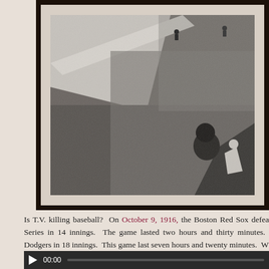[Figure (photo): Black and white aerial photograph of a baseball field/stadium, showing players on the field from a high angle. A large foul line or white chalk line is visible diagonally across the image. A player or spectator is visible in the lower right foreground.]
Is T.V. killing baseball?  On October 9, 1916, the Boston Red Sox defeated the Brooklyn Robins in the World Series in 14 innings.  The game lasted two hours and thirty minutes.  [continues] Dodgers in 18 innings.  This game last seven hours and twenty minutes.  W[continues]